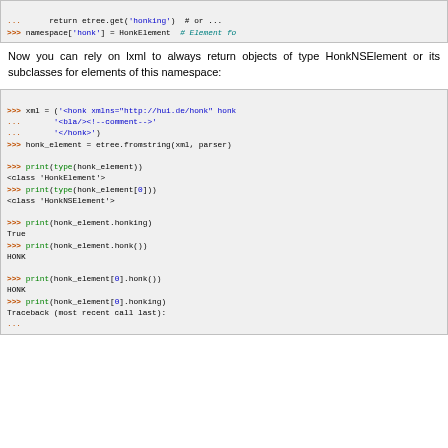[Figure (screenshot): Top code snippet showing namespace['honk'] = HonkElement]
Now you can rely on lxml to always return objects of type HonkNSElement or its subclasses for elements of this namespace:
[Figure (screenshot): Python interactive session showing xml parsing with etree, type checking honk_element, printing honking and honk() properties, and traceback beginning]